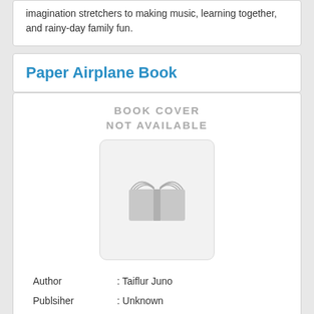imagination stretchers to making music, learning together, and rainy-day family fun.
Paper Airplane Book
[Figure (illustration): Book cover not available placeholder with a grey open book icon on a light grey rounded rectangle background. Text above reads BOOK COVER NOT AVAILABLE.]
Author : Taiflur Juno
Publsiher : Unknown